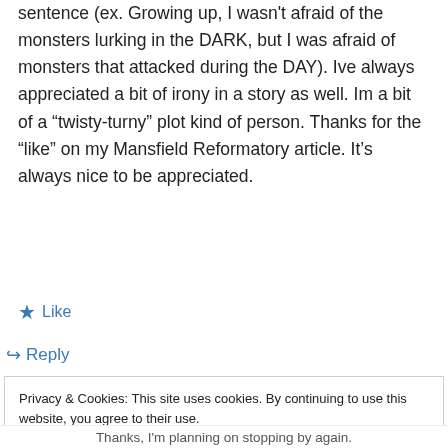sentence (ex. Growing up, I wasn't afraid of the monsters lurking in the DARK, but I was afraid of monsters that attacked during the DAY). Ive always appreciated a bit of irony in a story as well. Im a bit of a “twisty-turny” plot kind of person. Thanks for the “like” on my Mansfield Reformatory article. It’s always nice to be appreciated.
★ Like
↪ Reply
Privacy & Cookies: This site uses cookies. By continuing to use this website, you agree to their use.
To find out more, including how to control cookies, see here: Cookie Policy
Close and accept
Thanks, I’m planning on stopping by again.